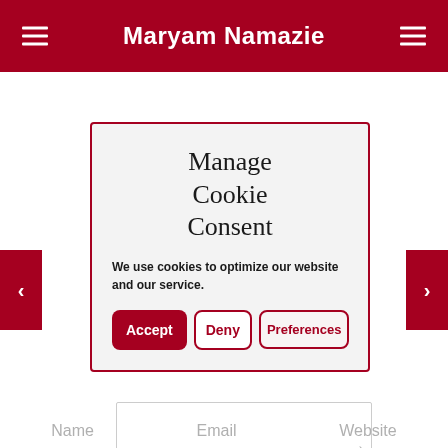Maryam Namazie
Manage Cookie Consent
We use cookies to optimize our website and our service.
Accept
Deny
Preferences
Name   Email   Website